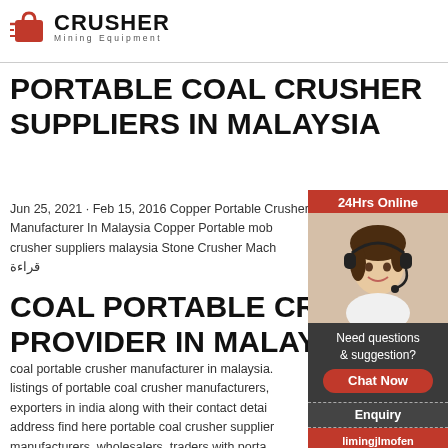[Figure (logo): Crusher Mining Equipment logo with red shopping bag icon and bold CRUSHER text]
PORTABLE COAL CRUSHER SUPPLIERS IN MALAYSIA
Jun 25, 2021 · Feb 15, 2016 Copper Portable Crusher Manufacturer In Malaysia Copper Portable mobile crusher suppliers malaysia Stone Crusher Mach… قراءة
COAL PORTABLE CRUSHER PROVIDER IN MALAYSIA
coal portable crusher manufacturer in malaysia. listings of portable coal crusher manufacturers, exporters in india along with their contact details & address find here portable coal crusher suppliers, manufacturers, wholesalers, traders with portable crusher prices for
[Figure (infographic): 24Hrs Online sidebar with photo of woman with headset, Need questions & suggestion?, Chat Now button, Enquiry link, limingjlmofen@sina.com email]